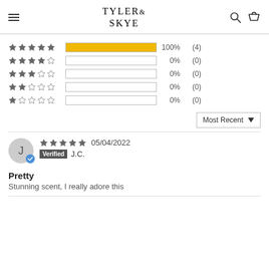TYLER & SKYE
[Figure (bar-chart): Star rating distribution]
Most Recent
J   05/04/2022   Verified  J.C.
Pretty
Stunning scent, I really adore this